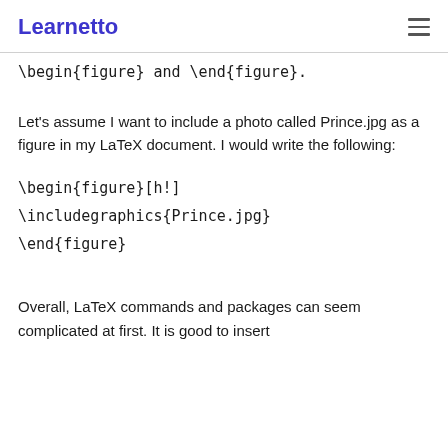Learnetto
\begin{figure} and \end{figure}.
Let's assume I want to include a photo called Prince.jpg as a figure in my LaTeX document. I would write the following:
Overall, LaTeX commands and packages can seem complicated at first. It is good to insert